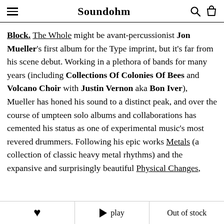Soundohm
Block. The Whole might be avant-percussionist Jon Mueller's first album for the Type imprint, but it's far from his scene debut. Working in a plethora of bands for many years (including Collections Of Colonies Of Bees and Volcano Choir with Justin Vernon aka Bon Iver), Mueller has honed his sound to a distinct peak, and over the course of umpteen solo albums and collaborations has cemented his status as one of experimental music's most revered drummers. Following his epic works Metals (a collection of classic heavy metal rhythms) and the expansive and surprisingly beautiful Physical Changes,
♥   ▶ play   Out of stock